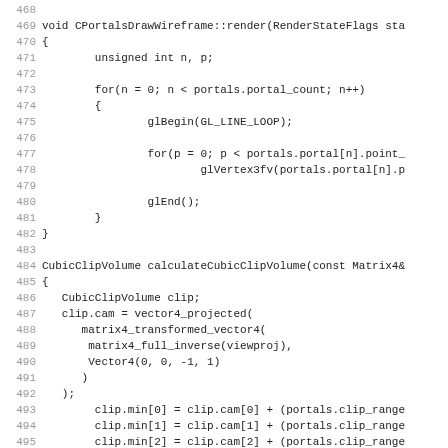Source code listing, lines 468-500+, showing CPortalsDrawWireframe::render and calculateCubicClipVolume functions in C++